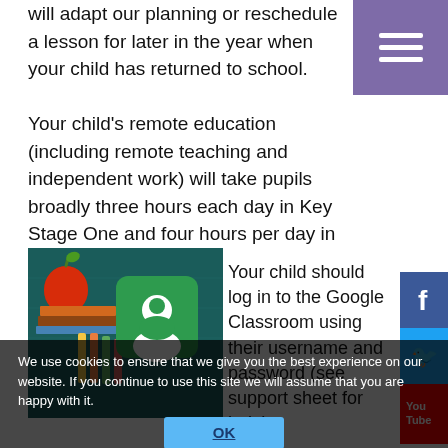will adapt our planning or reschedule a lesson for later in the year when your child has returned to school.
Your child's remote education (including remote teaching and independent work) will take pupils broadly three hours each day in Key Stage One and four hours per day in Key Stage 2.
[Figure (photo): Google Classroom logo on a chalkboard background with school supplies]
Your child should log in to the Google Classroom using their username and password (see support sheet for help).
From here they can access a series of assignments and learning materials to support their remote learning experience
We use cookies to ensure that we give you the best experience on our website. If you continue to use this site we will assume that you are happy with it.
OK